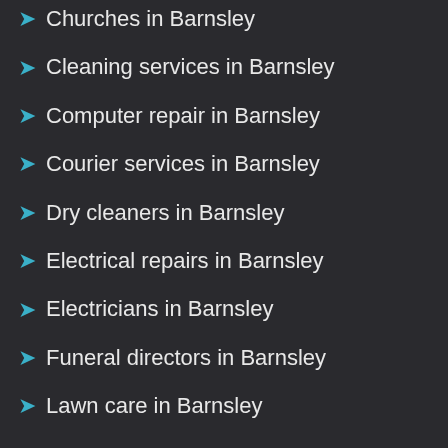Churches in Barnsley
Cleaning services in Barnsley
Computer repair in Barnsley
Courier services in Barnsley
Dry cleaners in Barnsley
Electrical repairs in Barnsley
Electricians in Barnsley
Funeral directors in Barnsley
Lawn care in Barnsley